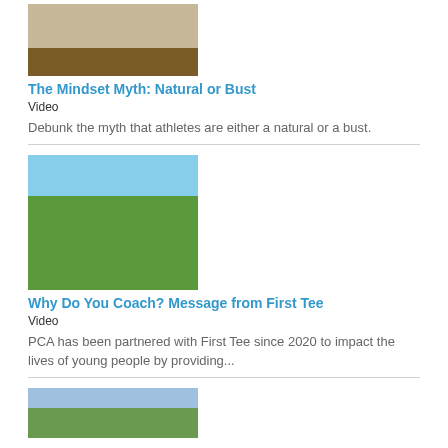[Figure (photo): Cropped photo showing athletes' legs/feet on a baseball field]
The Mindset Myth: Natural or Bust
Video
Debunk the myth that athletes are either a natural or a bust.
[Figure (photo): Three golfers walking on a golf course carrying bags]
Why Do You Coach? Message from First Tee
Video
PCA has been partnered with First Tee since 2020 to impact the lives of young people by providing...
[Figure (photo): Partially visible third article thumbnail image]